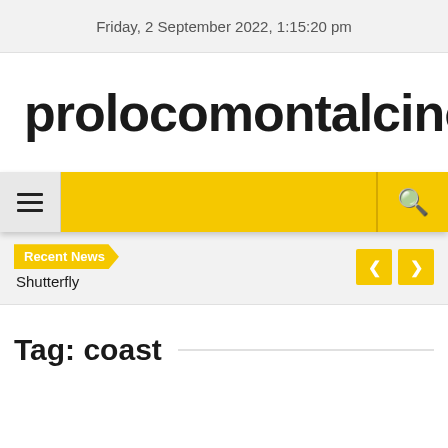Friday, 2 September 2022, 1:15:20 pm
prolocomontalcino.com
[Figure (screenshot): Website navigation bar with hamburger menu icon on gray background on left, yellow center area, and search icon on right separated by a vertical border.]
Recent News
Shutterfly
Tag: coast